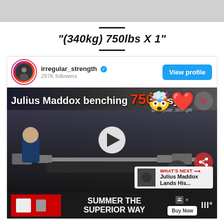[Figure (screenshot): Gray top bar area]
"(340kg) 750lbs X 1"
[Figure (screenshot): Instagram post from irregular_strength (297K followers, verified) showing a video titled 'Julius Maddox benching 750 easy' with a gym/bench press scene, play button overlay, heart and share buttons, 'What's Next' panel showing 'Julius Maddox Lands His...' and an advertisement bar at the bottom reading 'SUMMER THE SUPERIOR WAY' with a Buy Now button.]